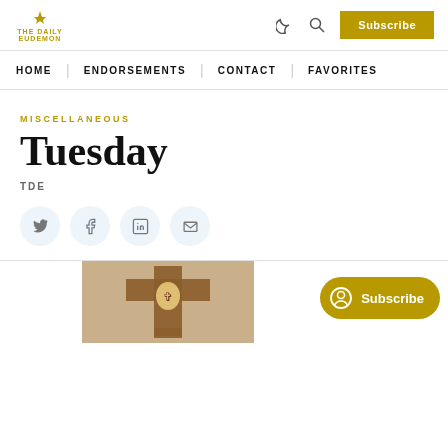THE DAILY EUDEMON | Subscribe
HOME | ENDORSEMENTS | CONTACT | FAVORITES
MISCELLANEOUS
Tuesday
TDE
[Figure (screenshot): Social share icons: Twitter, Facebook, LinkedIn, Email]
[Figure (photo): Photo of a decorated cross artwork, partially visible. A gold 'Subscribe' pill button overlays bottom-right.]